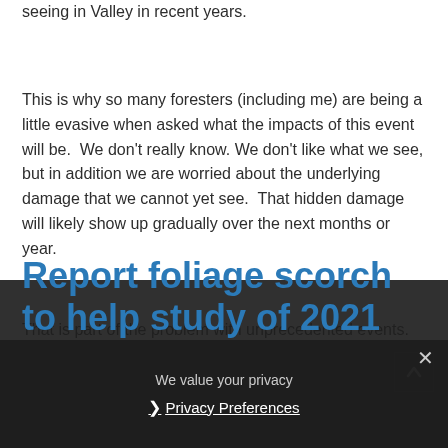seeing in Valley in recent years.
This is why so many foresters (including me) are being a little evasive when asked what the impacts of this event will be.  We don't really know. We don't like what we see, but in addition we are worried about the underlying damage that we cannot yet see.  That hidden damage will likely show up gradually over the next months or year.
That is part of the problem with unprecedented events.  They have not happened before.  Which leaves everyone guessing, but work is underway to track the effects and future impacts of this event.
Report foliage scorch to help study of 2021 heat wave
We value your privacy
Privacy Preferences